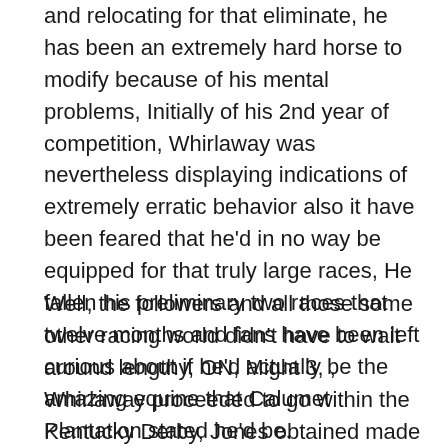and relocating for that eliminate, he has been an extremely hard horse to modify because of his mental problems, Initially of his 2nd year of competition, Whirlaway was nevertheless displaying indications of extremely erratic behavior also it have been feared that he'd in no way be equipped for that truly large races, He fallen his preliminary two races that twelve months and fans have been left curious about if he'd actually be the amazing equine that Calumet Plantation stated he'd be.
Well, the followers and all those some other racing world didn't have to wait around lengthy, ON, Might 3, , Whirlaway proceeded to go within the Kentucky Derby, Jones obtained made some modifications to Whirlaway's blinker to ensure that he could go to a